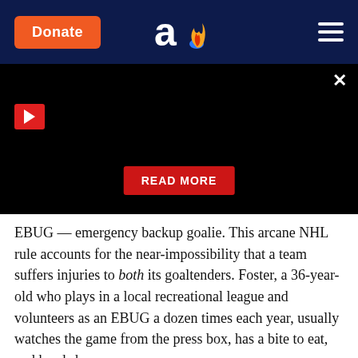Donate | [logo] | [menu]
[Figure (screenshot): Black video player area with a red play button in the top-left, an X close button in the top-right, and a red READ MORE button centered at the bottom.]
EBUG — emergency backup goalie. This arcane NHL rule accounts for the near-impossibility that a team suffers injuries to both its goaltenders. Foster, a 36-year-old who plays in a local recreational league and volunteers as an EBUG a dozen times each year, usually watches the game from the press box, has a bite to eat, and heads home.
But that night was different. Blackhawks starting goalie Anton Forsberg was injured just prior to faceoff,